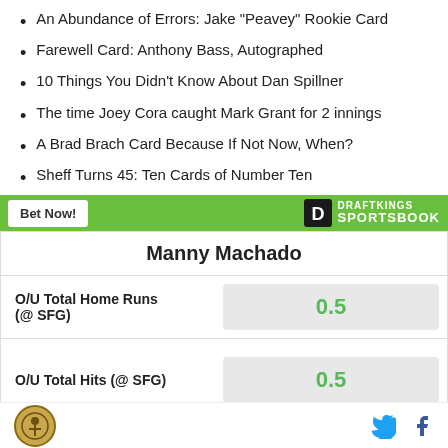An Abundance of Errors: Jake "Peavey" Rookie Card
Farewell Card: Anthony Bass, Autographed
10 Things You Didn't Know About Dan Spillner
The time Joey Cora caught Mark Grant for 2 innings
A Brad Brach Card Because If Not Now, When?
Sheff Turns 45: Ten Cards of Number Ten
[Figure (logo): DraftKings Sportsbook banner with green background, Bet Now! button and DraftKings Sportsbook logo]
| Manny Machado |  |
| --- | --- |
| O/U Total Home Runs (@ SFG) | 0.5 |
| O/U Total Hits (@ SFG) | 0.5 |
Site logo, Twitter icon, Facebook icon